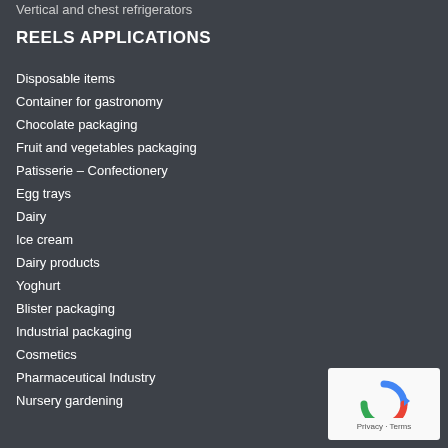Vertical and chest refrigerators
REELS APPLICATIONS
Disposable items
Container for gastronomy
Chocolate packaging
Fruit and vegetables packaging
Patisserie – Confectionery
Egg trays
Dairy
Ice cream
Dairy products
Yoghurt
Blister packaging
Industrial packaging
Cosmetics
Pharmaceutical Industry
Nursery gardening